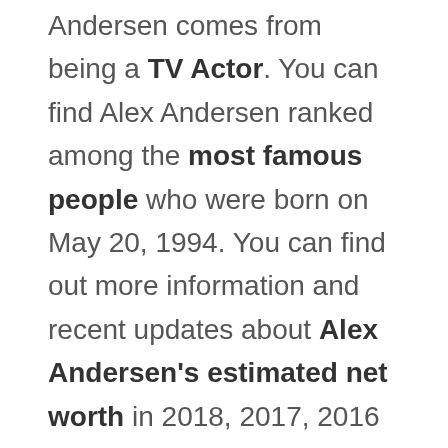Andersen comes from being a TV Actor. You can find Alex Andersen ranked among the most famous people who were born on May 20, 1994. You can find out more information and recent updates about Alex Andersen's estimated net worth in 2018, 2017, 2016 & 2015 by scrolling below. We include information on earnings, net worth, salary, income as well as extra information about their biography and lifestyle. We use a